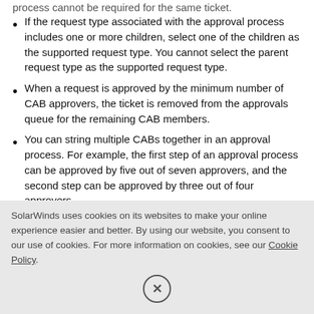If the request type associated with the approval process includes one or more children, select one of the children as the supported request type. You cannot select the parent request type as the supported request type.
When a request is approved by the minimum number of CAB approvers, the ticket is removed from the approvals queue for the remaining CAB members.
You can string multiple CABs together in an approval process. For example, the first step of an approval process can be approved by five out of seven approvers, and the second step can be approved by three out of four approvers.
SolarWinds uses cookies on its websites to make your online experience easier and better. By using our website, you consent to our use of cookies. For more information on cookies, see our Cookie Policy.